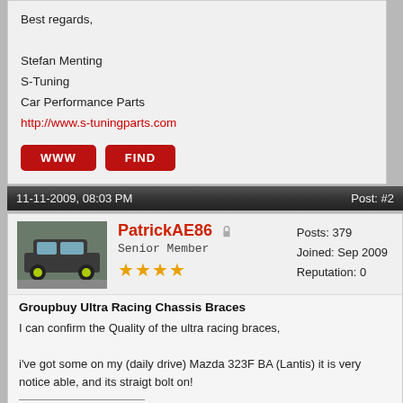Best regards,
Stefan Menting
S-Tuning
Car Performance Parts
http://www.s-tuningparts.com
[Figure (screenshot): Two red forum buttons labeled WWW and FIND]
11-11-2009, 08:03 PM   Post: #2
[Figure (photo): Avatar photo of a gray car with yellow wheels parked on a street]
PatrickAE86
Senior Member
★★★★
Posts: 379
Joined: Sep 2009
Reputation: 0
Groupbuy Ultra Racing Chassis Braces
I can confirm the Quality of the ultra racing braces,

i've got some on my (daily drive) Mazda 323F BA (Lantis) it is very notice able, and its straigt bolt on!
'87 levin coupé
[Figure (illustration): Three cartoon illustrations of a black Toyota AE86 Levin coupe from front, side, and rear views with yellow/green wheels]